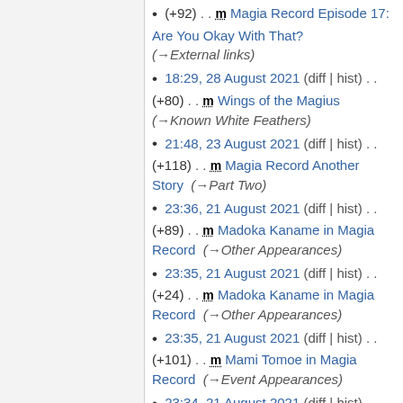(+92) . . m Magia Record Episode 17: Are You Okay With That? (→External links)
18:29, 28 August 2021 (diff | hist) . . (+80) . . m Wings of the Magius (→Known White Feathers)
21:48, 23 August 2021 (diff | hist) . . (+118) . . m Magia Record Another Story (→Part Two)
23:36, 21 August 2021 (diff | hist) . . (+89) . . m Madoka Kaname in Magia Record (→Other Appearances)
23:35, 21 August 2021 (diff | hist) . . (+24) . . m Madoka Kaname in Magia Record (→Other Appearances)
23:35, 21 August 2021 (diff | hist) . . (+101) . . m Mami Tomoe in Magia Record (→Event Appearances)
23:34, 21 August 2021 (diff | hist) . . (+101) . . m Sayaka Miki in Magia Record